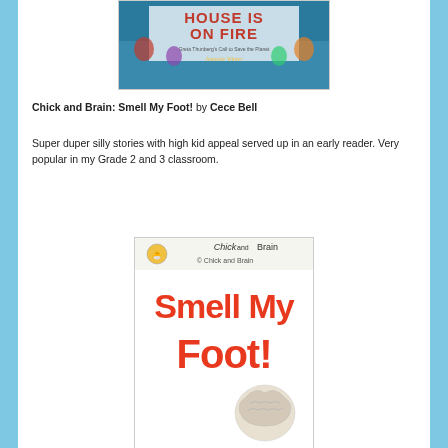[Figure (illustration): Book cover of 'Our House Is On Fire: Greta Thunberg's Call to Save the Planet' by Jeanette Winter. Shows children holding a sign with red text on dark blue background.]
Chick and Brain: Smell My Foot! by Cece Bell
Super duper silly stories with high kid appeal served up in an early reader. Very popular in my Grade 2 and 3 classroom.
[Figure (illustration): Book cover of 'Chick and Brain: Smell My Foot!' showing red hand-lettered title text with cartoon characters on white background.]